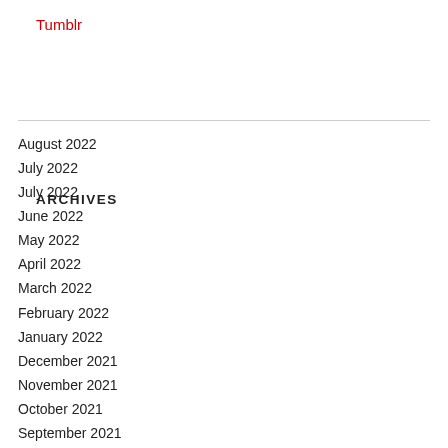Tumblr
ARCHIVES
August 2022
July 2022
July 2022
June 2022
May 2022
April 2022
March 2022
February 2022
January 2022
December 2021
November 2021
October 2021
September 2021
August 2021
July 2021
June 2021